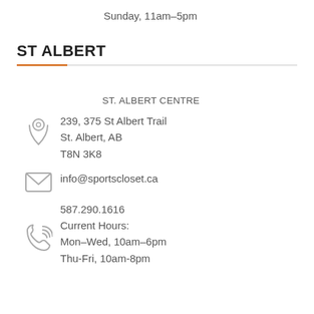Sunday, 11am–5pm
ST ALBERT
ST. ALBERT CENTRE
239, 375 St Albert Trail
St. Albert, AB
T8N 3K8
info@sportscloset.ca
587.290.1616
Current Hours:
Mon–Wed, 10am–6pm
Thu-Fri, 10am-8pm